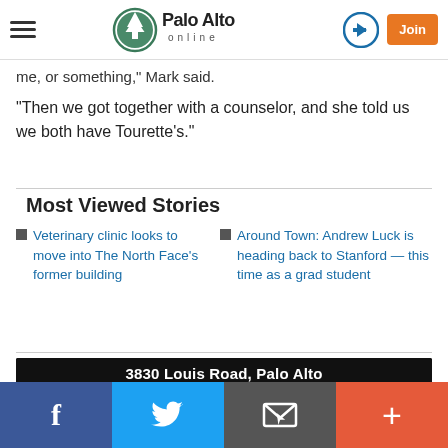Palo Alto online
me, or something," Mark said.
"Then we got together with a counselor, and she told us we both have Tourette's."
Most Viewed Stories
Veterinary clinic looks to move into The North Face's former building
Around Town: Andrew Luck is heading back to Stanford — this time as a grad student
[Figure (photo): Advertisement photo showing modern kitchen interior with white cabinets, stainless steel appliances, and marble countertops. Header reads: 3830 Louis Road, Palo Alto]
Facebook | Twitter | Email | +